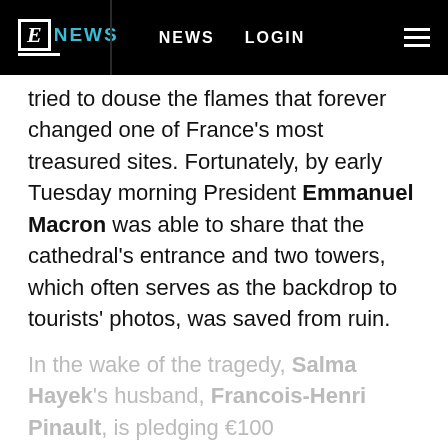E! NEWS   NEWS   LOGIN
tried to douse the flames that forever changed one of France's most treasured sites. Fortunately, by early Tuesday morning President Emmanuel Macron was able to share that the cathedral's entrance and two towers, which often serves as the backdrop to tourists' photos, was saved from ruin.
In the wake of the tragedy, Salma Hayek's husband, Francois-Henri Pinault, is pledging €100
Continue Reading
Taboola Feed